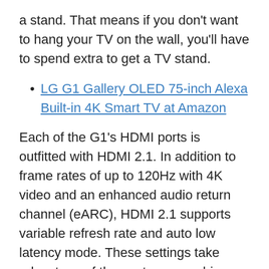a stand. That means if you don't want to hang your TV on the wall, you'll have to spend extra to get a TV stand.
LG G1 Gallery OLED 75-inch Alexa Built-in 4K Smart TV at Amazon
Each of the G1's HDMI ports is outfitted with HDMI 2.1. In addition to frame rates of up to 120Hz with 4K video and an enhanced audio return channel (eARC), HDMI 2.1 supports variable refresh rate and auto low latency mode. These settings take advantage of the next-gen graphic abilities of the PS5 and Xbox Series X.